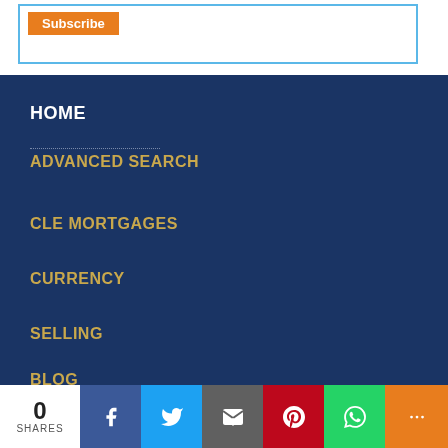[Figure (screenshot): Subscribe button inside a blue-bordered white box]
HOME
ADVANCED SEARCH
CLE MORTGAGES
CURRENCY
SELLING
BLOG
0 SHARES | Facebook | Twitter | Email | Pinterest | WhatsApp | More